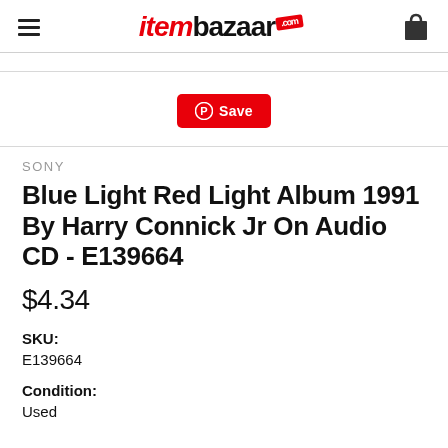itembazaar.com
[Figure (logo): itembazaar.com logo with red italic 'item' and black bold 'bazaar' and a red tag with '.com']
Save
SONY
Blue Light Red Light Album 1991 By Harry Connick Jr On Audio CD - E139664
$4.34
SKU:
E139664
Condition:
Used